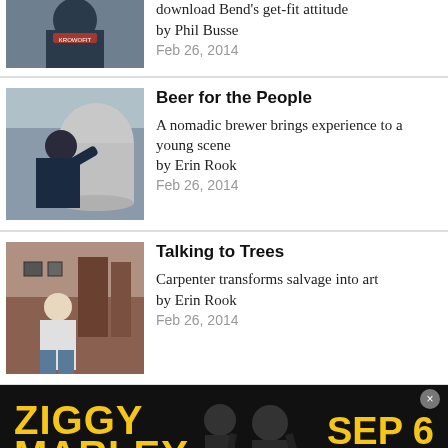download Bend's get-fit attitude by Phil Busse
Feb 26, 2014
[Figure (photo): Man wearing a KrowoFit shirt seen from behind, outdoors]
Beer for the People
A nomadic brewer brings experience to a young scene by Erin Rook
Feb 26, 2014
[Figure (photo): Man leaning over a large metal brewing tank, working with brewing equipment]
Talking to Trees
Carpenter transforms salvage into art by Erin Rook
Feb 26, 2014
[Figure (photo): Man standing in a woodworking shop with wooden pieces displayed on the wall]
[Figure (photo): Advertisement banner: Ziggy Marley - A Live Tribute to His Father. Sep 6, Hayden Homes Amphitheater, Bend, OR]